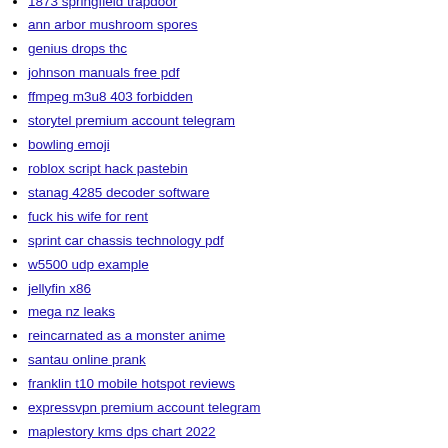1873 springfield trapdoor
ann arbor mushroom spores
genius drops thc
johnson manuals free pdf
ffmpeg m3u8 403 forbidden
storytel premium account telegram
bowling emoji
roblox script hack pastebin
stanag 4285 decoder software
fuck his wife for rent
sprint car chassis technology pdf
w5500 udp example
jellyfin x86
mega nz leaks
reincarnated as a monster anime
santau online prank
franklin t10 mobile hotspot reviews
expressvpn premium account telegram
maplestory kms dps chart 2022
remote desktop please wait
my dream job reading comprehension pdf
basemental drugs doctors appointment
taunton town fc flashscore
script admin roblox pastebin
qbcore drug system